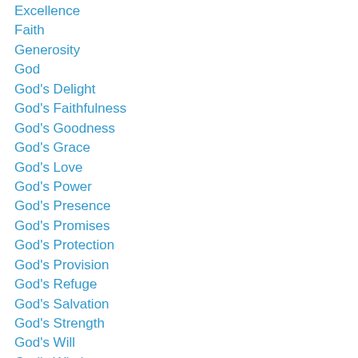Excellence
Faith
Generosity
God
God's Delight
God's Faithfulness
God's Goodness
God's Grace
God's Love
God's Power
God's Presence
God's Promises
God's Protection
God's Provision
God's Refuge
God's Salvation
God's Strength
God's Will
God's Wisdom
God-Given Abilities